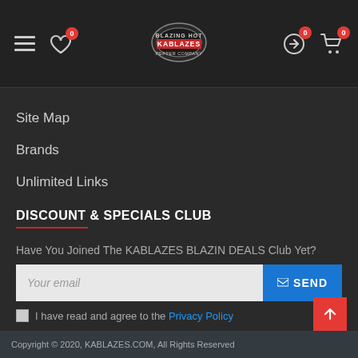KABLAZES navigation header with hamburger menu, wishlist (0), logo, compare (0), cart (0)
Site Map
Brands
Unlimited Links
DISCOUNT & SPECIALS CLUB
Have You Joined The KABLAZES BLAZIN DEALS Club Yet?
Your email | SEND button | I have read and agree to the Privacy Policy
Copyright © 2020, KABLAZES.COM, All Rights Reserved